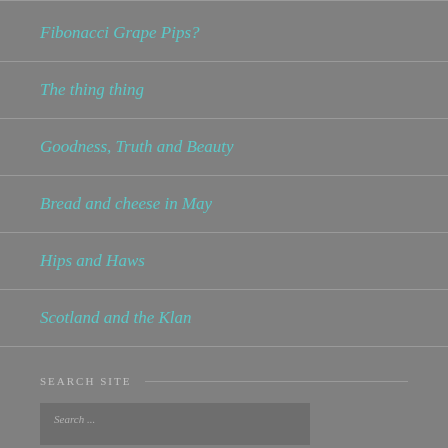Fibonacci Grape Pips?
The thing thing
Goodness, Truth and Beauty
Bread and cheese in May
Hips and Haws
Scotland and the Klan
SEARCH SITE
Search ...